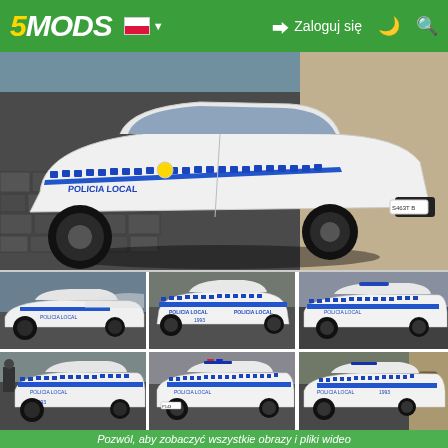5MODS | Zaloguj się
[Figure (photo): Large screenshot of a white GTA V police car (Policia Local) with blue stripe decals, viewed from the rear-left angle on a cobblestone street.]
[Figure (photo): Six thumbnail screenshots of the same white Policia Local police car mod from various angles in GTA V.]
Pozwól, aby zobaczyć wszystkie obrazy i pliki wideo